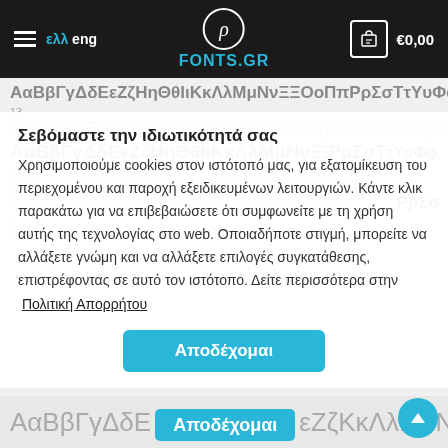ελλ eng — FONTS.GR — €0,00
[Figure (screenshot): Background Greek font preview rows showing alphabet characters in multiple weights and sizes]
Σεβόμαστε την ιδιωτικότητά σας
Χρησιμοποιούμε cookies στον ιστότοπό μας, για εξατομίκευση του περιεχομένου και παροχή εξειδικευμένων λειτουργιών. Κάντε κλικ παρακάτω για να επιβεβαιώσετε ότι συμφωνείτε με τη χρήση αυτής της τεχνολογίας στο web. Οποιαδήποτε στιγμή, μπορείτε να αλλάξετε γνώμη και να αλλάξετε επιλογές συγκατάθεσης, επιστρέφοντας σε αυτό τον ιστότοπο. Δείτε περισσότερα στην Πολιτική Απορρήτου
Αποδέχομαι